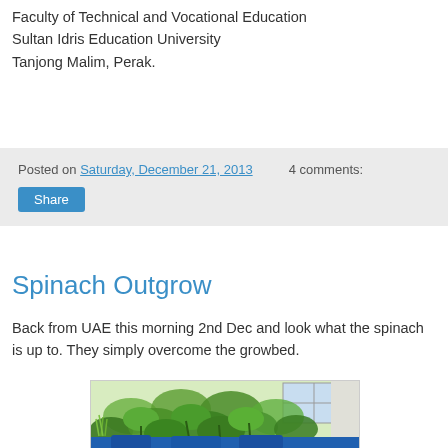Faculty of Technical and Vocational Education
Sultan Idris Education University
Tanjong Malim, Perak.
Posted on Saturday, December 21, 2013   4 comments:
Share
Spinach Outgrow
Back from UAE this morning 2nd Dec and look what the spinach is up to. They simply overcome the growbed.
[Figure (photo): Photo of spinach plants that have overgrown a growbed, with lush green leaves filling the frame, a window visible in the background, and blue containers/pots at the bottom.]